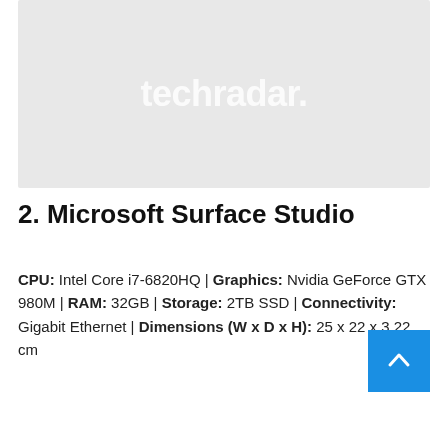[Figure (logo): Placeholder image with TechRadar logo watermark on grey background]
2. Microsoft Surface Studio
CPU: Intel Core i7-6820HQ | Graphics: Nvidia GeForce GTX 980M | RAM: 32GB | Storage: 2TB SSD | Connectivity: Gigabit Ethernet | Dimensions (W x D x H): 25 x 22 x 3.22 cm